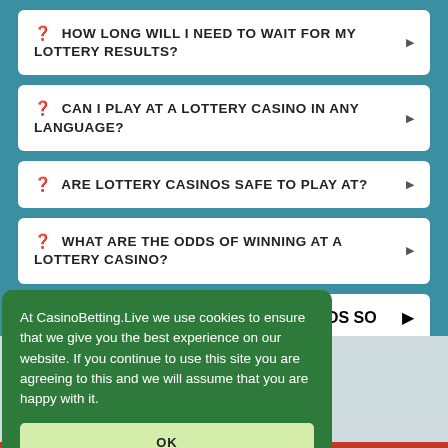❓ HOW LONG WILL I NEED TO WAIT FOR MY LOTTERY RESULTS?
❓ CAN I PLAY AT A LOTTERY CASINO IN ANY LANGUAGE?
❓ ARE LOTTERY CASINOS SAFE TO PLAY AT?
❓ WHAT ARE THE ODDS OF WINNING AT A LOTTERY CASINO?
❓WHY ARE ONLINE LOTTERY CASINOS SO POPULAR?
At CasinoBetting.Live we use cookies to ensure that we give you the best experience on our website. If you continue to use this site you are agreeing to this and we will assume that you are happy with it.
OK
casino